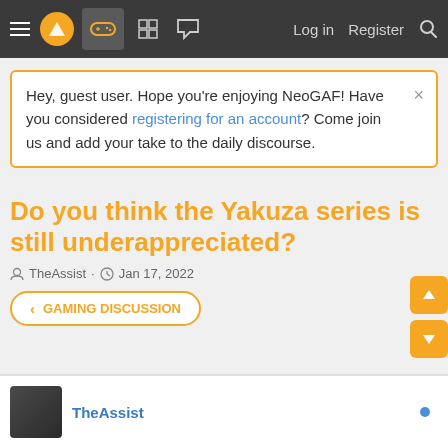NeoGAF navigation bar with hamburger menu, logo, gaming icon, grid icon, chat icon, Log in, Register, Search
Hey, guest user. Hope you're enjoying NeoGAF! Have you considered registering for an account? Come join us and add your take to the daily discourse.
Do you think the Yakuza series is still underappreciated?
TheAssist · Jan 17, 2022
< GAMING DISCUSSION
TheAssist